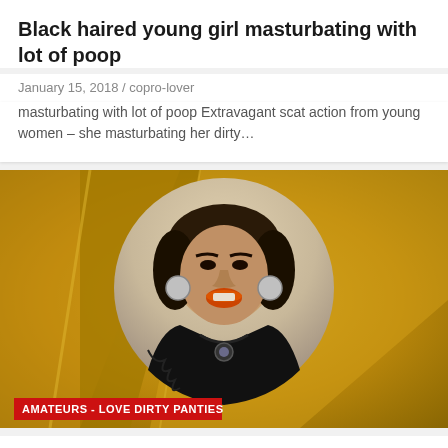Black haired young girl masturbating with lot of poop
January 15, 2018 / copro-lover
masturbating with lot of poop Extravagant scat action from young women – she masturbating her dirty…
[Figure (photo): Woman with dark hair looking up, wearing black top and necklace, set against gold geometric background with circular frame. Tag overlay reads: AMATEURS - LOVE DIRTY PANTIES]
CLIPS4SALE 1 DAY POISON (JOI – Jerk Off